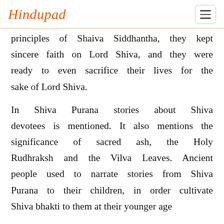Hindupad
principles of Shaiva Siddhantha, they kept sincere faith on Lord Shiva, and they were ready to even sacrifice their lives for the sake of Lord Shiva.
In Shiva Purana stories about Shiva devotees is mentioned. It also mentions the significance of sacred ash, the Holy Rudhraksh and the Vilva Leaves. Ancient people used to narrate stories from Shiva Purana to their children, in order cultivate Shiva bhakti to them at their younger age